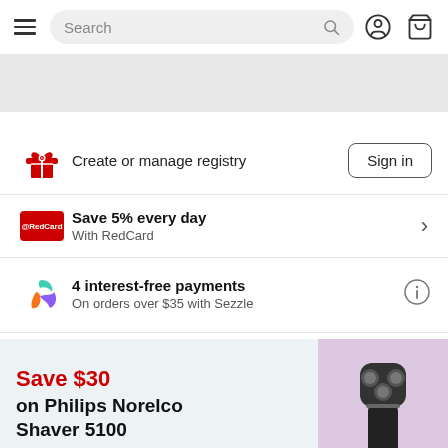Search
[Figure (screenshot): Gray placeholder banner area]
Create or manage registry
Sign in
Save 5% every day
With RedCard
4 interest-free payments
On orders over $35 with Sezzle
Save $30 on Philips Norelco Shaver 5100
sponsored